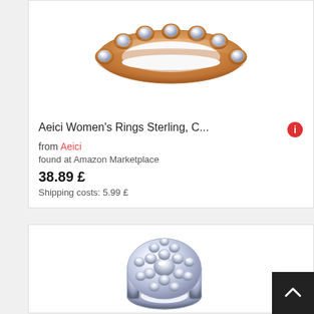[Figure (photo): Rose gold eternity ring with round crystal/diamond stones set in circular bezels, photographed on white background]
Aeici Women's Rings Sterling, C... from Aeici
found at Amazon Marketplace
38.89 £
Shipping costs: 5.99 £
[Figure (photo): Silver/white gold cluster ring with multiple round diamonds/crystals in a halo style, photographed on white background]